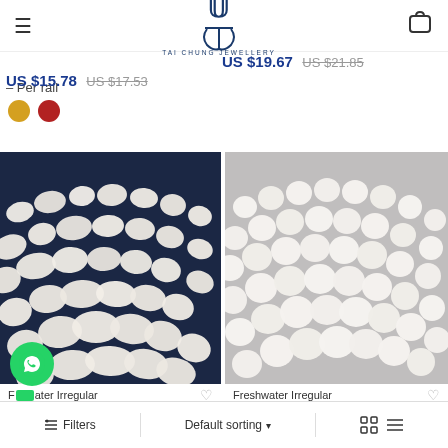TAI CHUNG JEWELLERY
– Per rail  US $15.78  US $17.53
US $19.67  US $21.85
[Figure (photo): Multiple strands of irregular baroque freshwater pearls on dark navy blue background]
[Figure (photo): Multiple strands of round freshwater pearls on grey background]
Freshwater Irregular
Freshwater Irregular
Filters   Default sorting   grid/list toggle